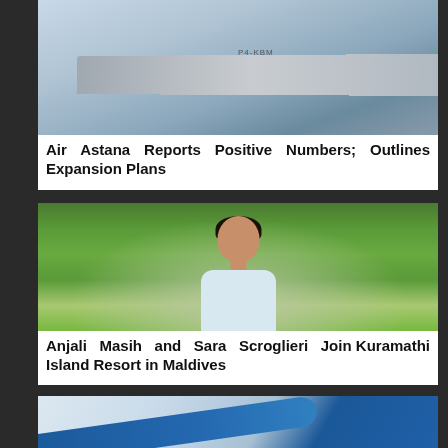[Figure (photo): Airplane photo with registration P4-KBM visible on fuselage]
Air Astana Reports Positive Numbers; Outlines Expansion Plans
[Figure (photo): Portrait of a woman in a light blue polo shirt with a name badge, standing outdoors with tropical green foliage in the background]
Anjali Masih and Sara Scroglieri Join Kuramathi Island Resort in Maldives
[Figure (photo): Partial view of an airplane with blue livery]